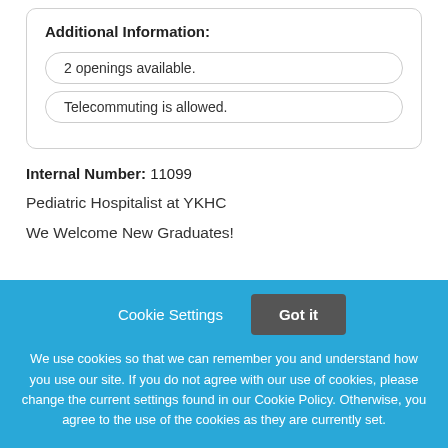Additional Information:
2 openings available.
Telecommuting is allowed.
Internal Number: 11099
Pediatric Hospitalist at YKHC
We Welcome New Graduates!
Cookie Settings
Got it
We use cookies so that we can remember you and understand how you use our site. If you do not agree with our use of cookies, please change the current settings found in our Cookie Policy. Otherwise, you agree to the use of the cookies as they are currently set.